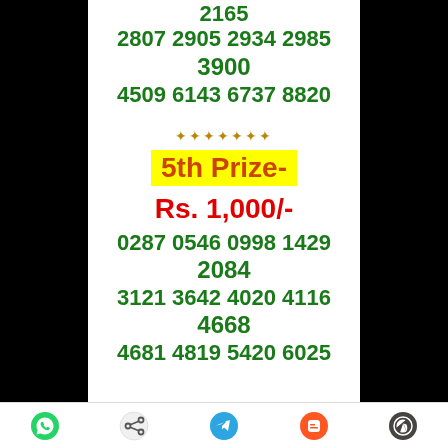2165
2807 2905 2934 2985
3900
4509 6143 6737 8820
5th Prize-
Rs. 1,000/-
0287 0546 0998 1429
2084
3121 3642 4020 4116
4668
4681 4819 5420 6025